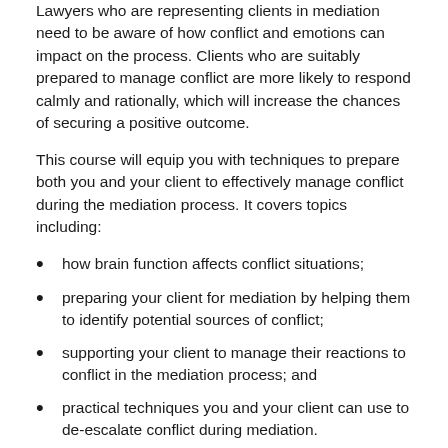Lawyers who are representing clients in mediation need to be aware of how conflict and emotions can impact on the process. Clients who are suitably prepared to manage conflict are more likely to respond calmly and rationally, which will increase the chances of securing a positive outcome.
This course will equip you with techniques to prepare both you and your client to effectively manage conflict during the mediation process. It covers topics including:
how brain function affects conflict situations;
preparing your client for mediation by helping them to identify potential sources of conflict;
supporting your client to manage their reactions to conflict in the mediation process; and
practical techniques you and your client can use to de-escalate conflict during mediation.
Need more than one CPD point? Save 20% when you